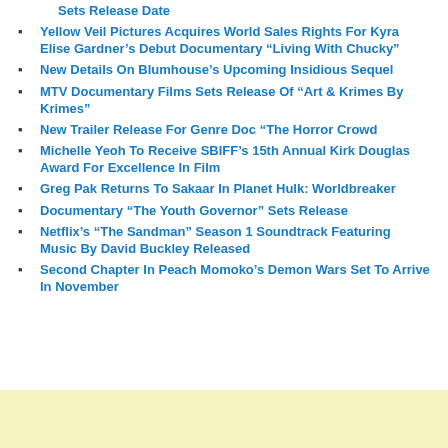Sets Release Date
Yellow Veil Pictures Acquires World Sales Rights For Kyra Elise Gardner’s Debut Documentary “Living With Chucky”
New Details On Blumhouse’s Upcoming Insidious Sequel
MTV Documentary Films Sets Release Of “Art & Krimes By Krimes”
New Trailer Release For Genre Doc “The Horror Crowd
Michelle Yeoh To Receive SBIFF’s 15th Annual Kirk Douglas Award For Excellence In Film
Greg Pak Returns To Sakaar In Planet Hulk: Worldbreaker
Documentary “The Youth Governor” Sets Release
Netflix’s “The Sandman” Season 1 Soundtrack Featuring Music By David Buckley Released
Second Chapter In Peach Momoko’s Demon Wars Set To Arrive In November